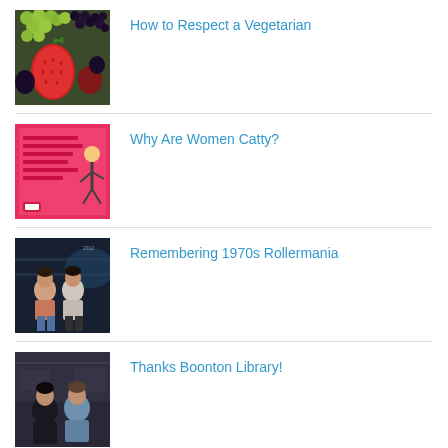[Figure (photo): Close-up photo of colorful fruits including green grapes, strawberries, and blackberries.]
How to Respect a Vegetarian
[Figure (photo): Pink/red flyer or card with text and a cartoon figure illustration.]
Why Are Women Catty?
[Figure (photo): Photo of two women standing together in what appears to be an indoor setting with dim blue lighting.]
Remembering 1970s Rollermania
[Figure (photo): Photo of two people standing together indoors, one wearing dark clothing and one in lighter clothing.]
Thanks Boonton Library!